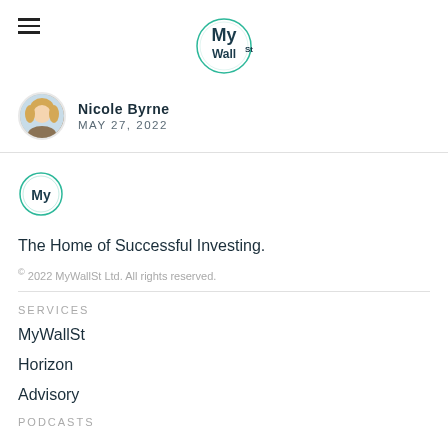MyWallSt
Nicole Byrne — MAY 27, 2022
[Figure (logo): MyWallSt circular logo with 'My' text inside a green circle]
The Home of Successful Investing.
© 2022 MyWallSt Ltd. All rights reserved.
SERVICES
MyWallSt
Horizon
Advisory
PODCASTS